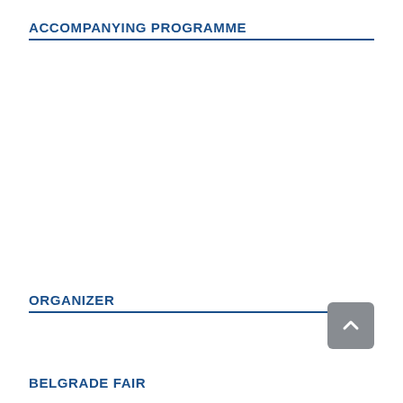ACCOMPANYING PROGRAMME
ORGANIZER
BELGRADE FAIR